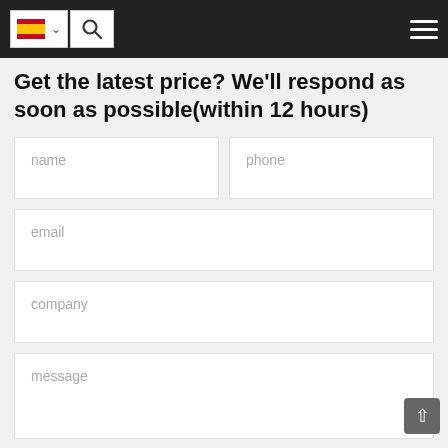Navigation bar with Spanish flag, search icon, and hamburger menu
Get the latest price? We'll respond as soon as possible(within 12 hours)
name
phone
email
company
message
Verification code
[Figure (other): CAPTCHA image with text QBDR on pink/red background]